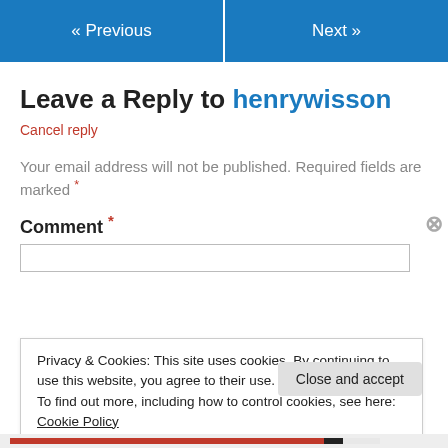« Previous   Next »
Leave a Reply to henrywisson
Cancel reply
Your email address will not be published. Required fields are marked *
Comment *
Privacy & Cookies: This site uses cookies. By continuing to use this website, you agree to their use.
To find out more, including how to control cookies, see here: Cookie Policy
Close and accept